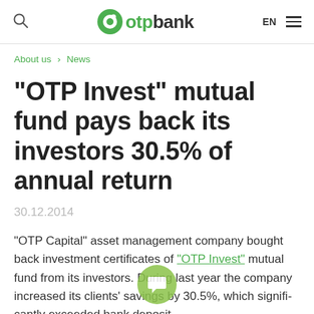OTP Bank — EN
About us > News
"OTP Invest" mutual fund pays back its investors 30.5% of annual return
30.12.2014
"OTP Capital" asset management company bought back investment certificates of "OTP Invest" mutual fund from its investors. During last year the company increased its clients' savings by 30.5%, which significantly exceeded bank deposit